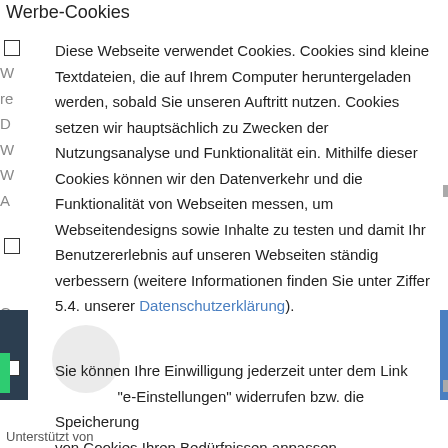Werbe-Cookies
Diese Webseite verwendet Cookies. Cookies sind kleine Textdateien, die auf Ihrem Computer heruntergeladen werden, sobald Sie unseren Auftritt nutzen. Cookies setzen wir hauptsächlich zu Zwecken der Nutzungsanalyse und Funktionalität ein. Mithilfe dieser Cookies können wir den Datenverkehr und die Funktionalität von Webseiten messen, um Webseitendesigns sowie Inhalte zu testen und damit Ihr Benutzererlebnis auf unseren Webseiten ständig verbessern (weitere Informationen finden Sie unter Ziffer 5.4. unserer Datenschutzerklärung).
Sie können Ihre Einwilligung jederzeit unter dem Link "Cookie-Einstellungen" widerrufen bzw. die Speicherung von Cookies Ihren Bedürfnissen anpassen.
Unterstützt von